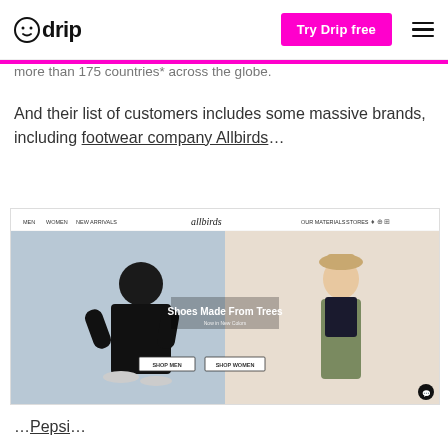drip | Try Drip free
more than 175 countries* across the globe.
And their list of customers includes some massive brands, including footwear company Allbirds...
[Figure (screenshot): Screenshot of the Allbirds website homepage showing two models and the text 'Shoes Made From Trees', with navigation menus and shop buttons.]
...Pepsi...